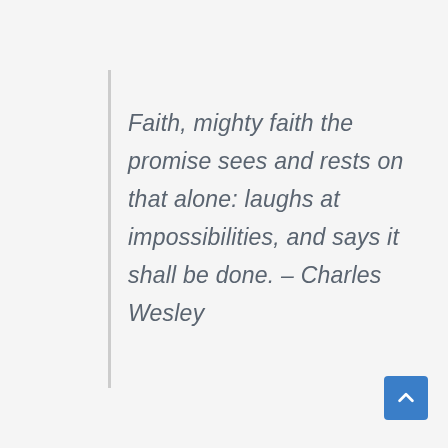Faith, mighty faith the promise sees and rests on that alone: laughs at impossibilities, and says it shall be done. – Charles Wesley